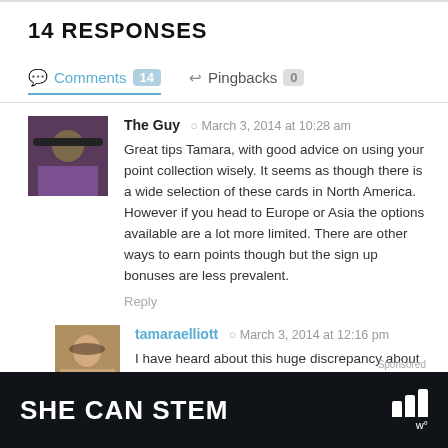14 RESPONSES
Comments 14   Pingbacks 0
The Guy · March 3, 2014 at 10:28 am
Great tips Tamara, with good advice on using your point collection wisely. It seems as though there is a wide selection of these cards in North America. However if you head to Europe or Asia the options available are a lot more limited. There are other ways to earn points though but the sign up bonuses are less prevalent.
Reply
tamaraelliott · March 3, 2014 at 12:16 pm
I have heard about this huge discrepancy about points programs, in regards to N. America vs. everywhere else. I seems we are a lucky bunch to be on this side of the pond, in
SHE CAN STEM